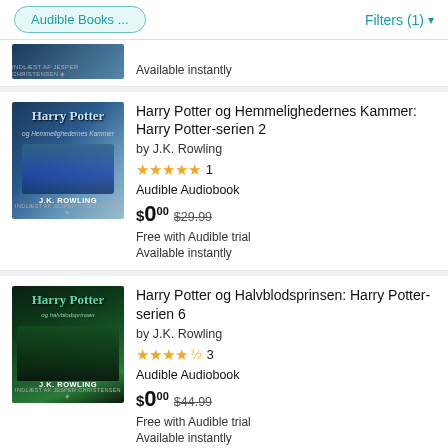Audible Books ...   Filters (1)
Available instantly
Harry Potter og Hemmelighedernes Kammer: Harry Potter-serien 2
by J.K. Rowling
★★★★★ 1
Audible Audiobook
$0.00  $29.99
Free with Audible trial
Available instantly
Harry Potter og Halvblodsprinsen: Harry Potter-serien 6
by J.K. Rowling
★★★★½ 3
Audible Audiobook
$0.00  $44.99
Free with Audible trial
Available instantly